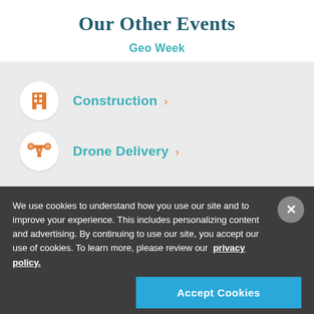Our Other Events
Geo Week
Construction ›
Drone Delivery ›
We use cookies to understand how you use our site and to improve your experience. This includes personalizing content and advertising. By continuing to use our site, you accept our use of cookies. To learn more, please review our privacy policy.